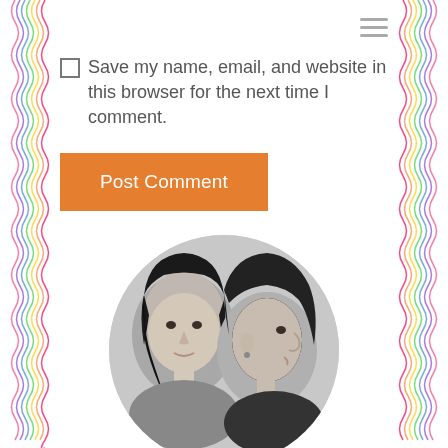Save my name, email, and website in this browser for the next time I comment.
Post Comment
[Figure (photo): Circular black and white photo showing two people facing each other]